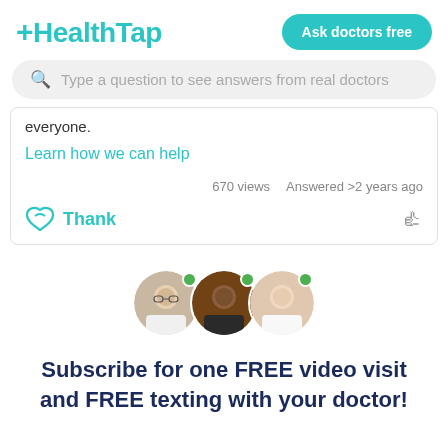HealthTap — Ask doctors free
Type a question to see answers from real doctors
everyone.
Learn how we can help
670 views   Answered >2 years ago
Thank
[Figure (photo): Three doctor profile photos with green online status dots]
Subscribe for one FREE video visit and FREE texting with your doctor!